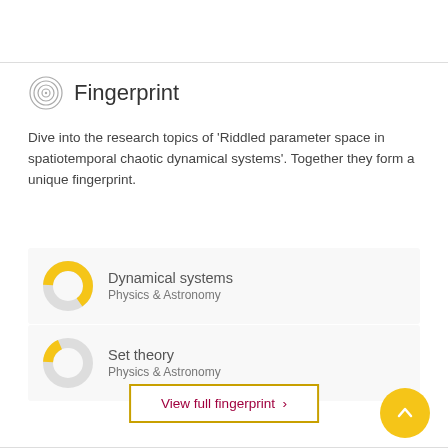Fingerprint
Dive into the research topics of 'Riddled parameter space in spatiotemporal chaotic dynamical systems'. Together they form a unique fingerprint.
[Figure (infographic): Donut chart showing Dynamical systems ~65% filled in yellow/gold, Physics & Astronomy category label]
Dynamical systems
Physics & Astronomy
[Figure (infographic): Donut chart showing Set theory ~20% filled in yellow/gold, Physics & Astronomy category label]
Set theory
Physics & Astronomy
View full fingerprint >